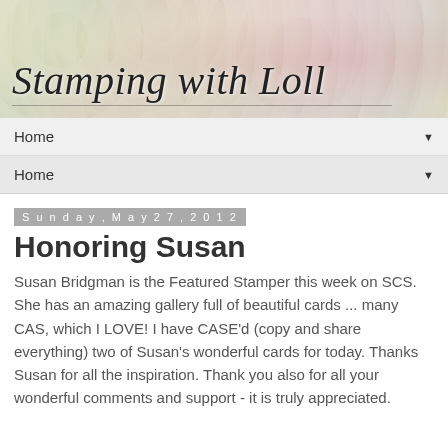[Figure (illustration): Decorative blog header banner with ornate floral/damask pattern in soft pastel colors (cream, pink, yellow-green), with cursive script text 'Stamping with Loll']
Home ▼
Home ▼
Sunday, May 27, 2012
Honoring Susan
Susan Bridgman is the Featured Stamper this week on SCS.  She has an amazing gallery full of beautiful cards ... many CAS, which I LOVE!  I have CASE'd (copy and share everything) two of Susan's wonderful cards for today.  Thanks Susan for all the inspiration.  Thank you also for all your wonderful comments and support - it is truly appreciated.